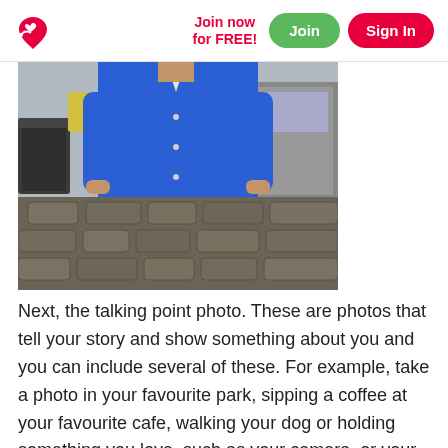Join now for FREE!   Join   Sign In
[Figure (photo): Man wearing a blue long-sleeve button-up shirt standing outdoors on a cobblestone street, torso/headless view]
Next, the talking point photo. These are photos that tell your story and show something about you and you can include several of these. For example, take a photo in your favourite park, sipping a coffee at your favourite cafe, walking your dog or holding something you love, such as your camera, or your favourite book. And yes – this is something that sparks a conversation with people